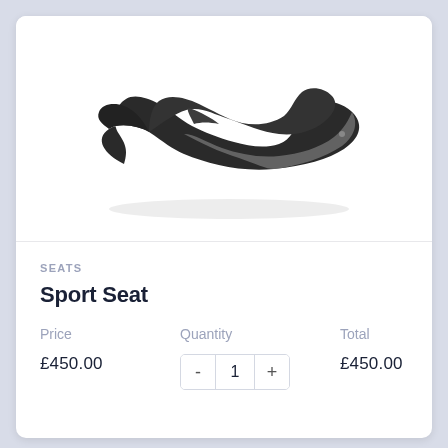[Figure (photo): A black sport motorcycle seat with grey accent panels, photographed at an angle on a white background.]
SEATS
Sport Seat
Price   Quantity   Total
£450.00   1   £450.00